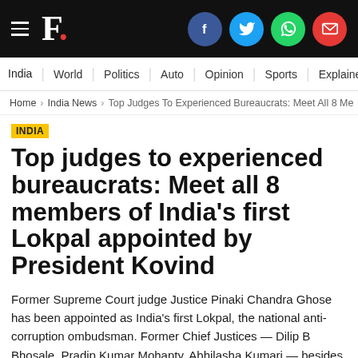F. [with social icons: Facebook, Twitter, WhatsApp, Email]
India | World | Politics | Auto | Opinion | Sports | Explainers
Home > India News > Top Judges To Experienced Bureaucrats: Meet All 8 Me
INDIA
Top judges to experienced bureaucrats: Meet all 8 members of India's first Lokpal appointed by President Kovind
Former Supreme Court judge Justice Pinaki Chandra Ghose has been appointed as India's first Lokpal, the national anti-corruption ombudsman. Former Chief Justices — Dilip B Bhosale, Pradip Kumar Mohanty, Abhilasha Kumari — besides sitting Chief Justice of Chhattisgarh High Court Ajay Kumar